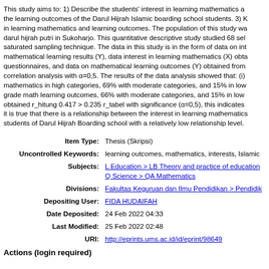This study aims to: 1) Describe the students' interest in learning mathematics and the learning outcomes of the Darul Hijrah Islamic boarding school students. 3) Know in learning mathematics and learning outcomes. The population of this study was darul hijrah putri in Sukoharjo. This quantitative descriptive study studied 68 sel saturated sampling technique. The data in this study is in the form of data on in mathematical learning results (Y), data interest in learning mathematics (X) obta questionnaires, and data on mathematical learning outcomes (Y) obtained from correlation analysis with α=0,5. The results of the data analysis showed that: (i) mathematics in high categories, 69% with moderate categories, and 15% in low grade math learning outcomes, 66% with moderate categories, and 15% in low obtained r_hitung 0.417 > 0.235 r_tabel with significance (α=0,5), this indicates it is true that there is a relationship between the interest in learning mathematics students of Darul Hijrah Boarding school with a relatively low relationship level.
| Field | Value |
| --- | --- |
| Item Type: | Thesis (Skripsi) |
| Uncontrolled Keywords: | learning outcomes, mathematics, interests, Islamic |
| Subjects: | L Education > LB Theory and practice of education
Q Science > QA Mathematics |
| Divisions: | Fakultas Keguruan dan Ilmu Pendidikan > Pendidik |
| Depositing User: | FIDA HUDAIFAH |
| Date Deposited: | 24 Feb 2022 04:33 |
| Last Modified: | 25 Feb 2022 02:48 |
| URI: | http://eprints.ums.ac.id/id/eprint/98649 |
Actions (login required)